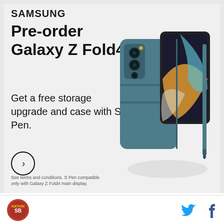[Figure (infographic): Samsung advertisement for Galaxy Z Fold4. Shows the phone with teal/slate case and S Pen. Text: SAMSUNG, Pre-order Galaxy Z Fold4, Get a free storage upgrade and case with S Pen. Arrow CTA button. Fine print: See terms and conditions. S Pen compatible only with Galaxy Z Fold4 main display.]
POWERED BY CONCERT   FEEDBACK
Jermaine Jones: This isn't about money! Look we're playing for our jobs here. We're all young and hungry players, we should be showing some drive to get better